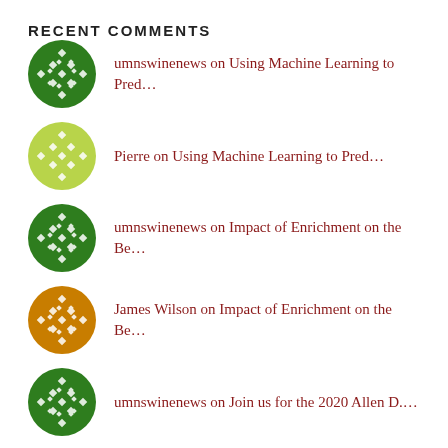RECENT COMMENTS
umnswinenews on Using Machine Learning to Pred...
Pierre on Using Machine Learning to Pred...
umnswinenews on Impact of Enrichment on the Be...
James Wilson on Impact of Enrichment on the Be...
umnswinenews on Join us for the 2020 Allen D....